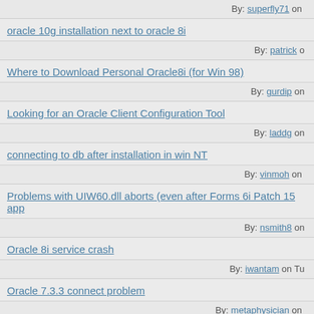By: superfly71 on ...
oracle 10g installation next to oracle 8i — By: patrick on ...
Where to Download Personal Oracle8i (for Win 98) — By: gurdip on ...
Looking for an Oracle Client Configuration Tool — By: laddg on ...
connecting to db after installation in win NT — By: vinmoh on ...
Problems with UIW60.dll aborts (even after Forms 6i Patch 15 app... — By: nsmith8 on ...
Oracle 8i service crash — By: iwantam on Tu...
Oracle 7.3.3 connect problem — By: metaphysician on ...
oracle connection — By: smola on ...
Problem in adding Oracle ODBC user dsn in Windows 2000/XP ...